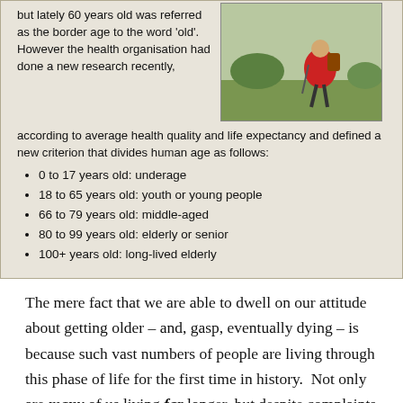[Figure (photo): Newspaper clipping showing text about WHO age classification criteria with a photo of an elderly hiker in a red jacket on the right side]
0 to 17 years old: underage
18 to 65 years old: youth or young people
66 to 79 years old: middle-aged
80 to 99 years old: elderly or senior
100+ years old: long-lived elderly
The mere fact that we are able to dwell on our attitude about getting older – and, gasp, eventually dying – is because such vast numbers of people are living through this phase of life for the first time in history.  Not only are many of us living far longer, but despite complaints about the aches, pains, and limitations of aging (the getting-old-